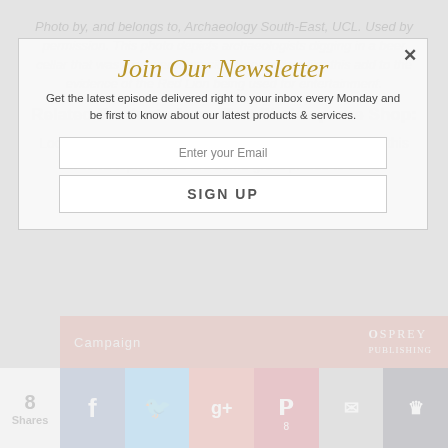Photo by, and belongs to, Archaeology South-East, UCL. Used by permission. This photo depicts archaeologists digging in a beer cellar that was discovered on site. Beer cellars like this add to the evidence of the Red Lion being used for entertainment.
Related Products from That Shakespeare Shop:
Looking to learn more or delve further into the history of this week's topic? Here are some great places to start.
[Figure (screenshot): Newsletter signup modal overlay with title 'Join Our Newsletter', subtitle text, email input field, and SIGN UP button]
[Figure (screenshot): Campaign bar with Osprey Publishing logo and social sharing buttons: Facebook, Twitter, Google+, Pinterest, Email, Crown. Shows 8 Shares.]